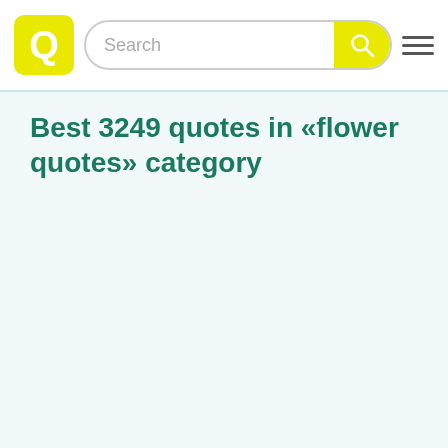Search
Best 3249 quotes in «flower quotes» category